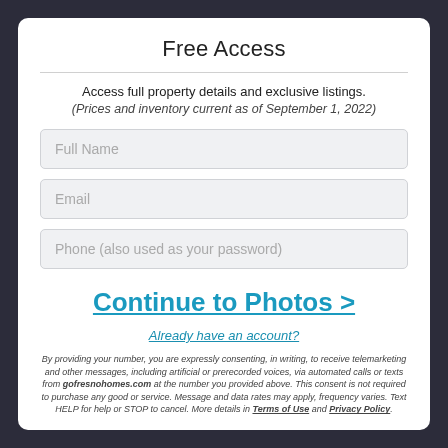Free Access
Access full property details and exclusive listings.
(Prices and inventory current as of September 1, 2022)
Full Name
Email
Phone (also used as your password)
Continue to Photos >
Already have an account?
By providing your number, you are expressly consenting, in writing, to receive telemarketing and other messages, including artificial or prerecorded voices, via automated calls or texts from gofresnohomes.com at the number you provided above. This consent is not required to purchase any good or service. Message and data rates may apply, frequency varies. Text HELP for help or STOP to cancel. More details in Terms of Use and Privacy Policy.